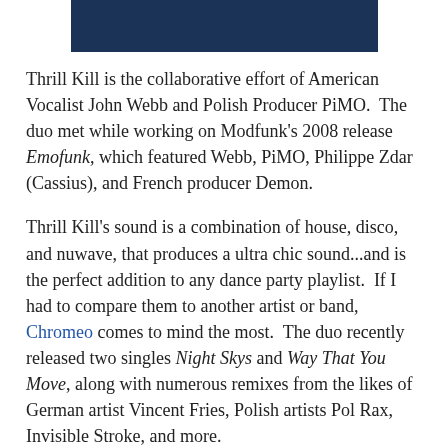[Figure (other): Dark navy blue horizontal banner/header bar]
Thrill Kill is the collaborative effort of American Vocalist John Webb and Polish Producer PiMO.  The duo met while working on Modfunk's 2008 release Emofunk, which featured Webb, PiMO, Philippe Zdar (Cassius), and French producer Demon.
Thrill Kill's sound is a combination of house, disco, and nuwave, that produces a ultra chic sound...and is the perfect addition to any dance party playlist.  If I had to compare them to another artist or band, Chromeo comes to mind the most.  The duo recently released two singles Night Skys and Way That You Move, along with numerous remixes from the likes of German artist Vincent Fries, Polish artists Pol Rax, Invisible Stroke, and more.
For more Thrill Kill, check out their facebook page and follow them on twitter.  More importantly, head on over to their